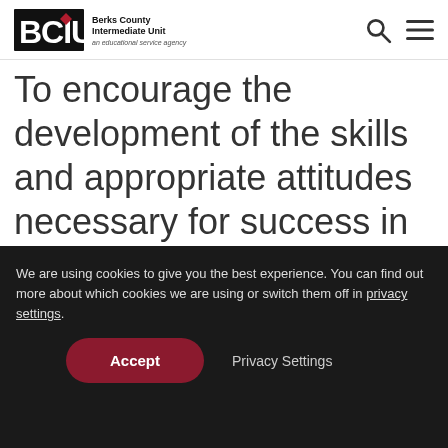BCIU - Berks County Intermediate Unit - an educational service agency
To encourage the development of the skills and appropriate attitudes necessary for success in the workplace, students also work at job sites within the community. Students rotate among the sites to conform to
We are using cookies to give you the best experience. You can find out more about which cookies we are using or switch them off in privacy settings.